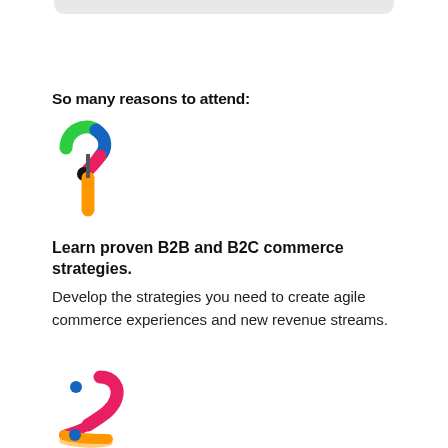So many reasons to attend:
[Figure (illustration): Colorful stylized number 1 with green, blue, pink/red, black, and orange segments]
Learn proven B2B and B2C commerce strategies.
Develop the strategies you need to create agile commerce experiences and new revenue streams.
[Figure (illustration): Colorful stylized number 2 with pink/magenta, blue, and orange/yellow segments]